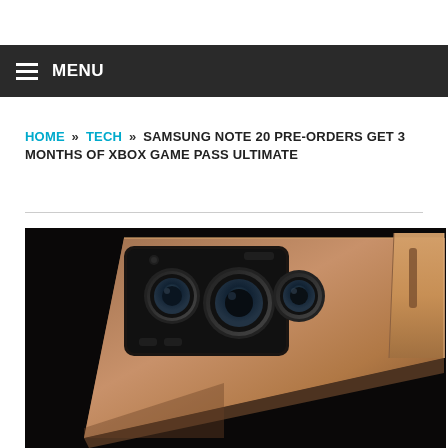MENU
HOME » TECH » SAMSUNG NOTE 20 PRE-ORDERS GET 3 MONTHS OF XBOX GAME PASS ULTIMATE
[Figure (photo): Samsung Galaxy Note 20 smartphone in bronze color, showing rear camera module and S Pen stylus against a dark background]